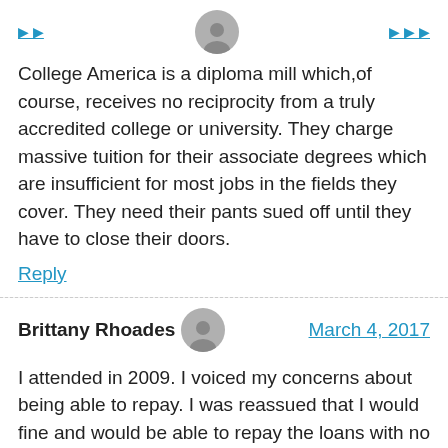College America is a diploma mill which,of course, receives no reciprocity from a truly accredited college or university. They charge massive tuition for their associate degrees which are insufficient for most jobs in the fields they cover. They need their pants sued off until they have to close their doors.
Reply
Brittany Rhoades
March 4, 2017
I attended in 2009. I voiced my concerns about being able to repay. I was reassued that I would fine and would be able to repay the loans with no problem because I would have a degree in 18 months. The paperwork was filled out and pushed at me with a brief explanation of the forms. When I asked to take the